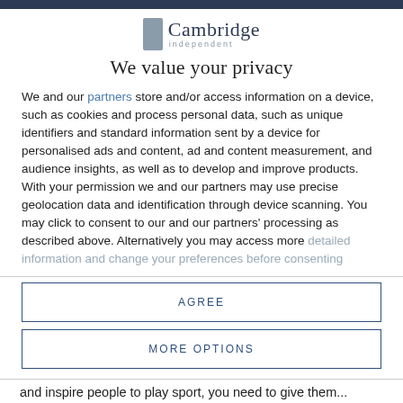[Figure (logo): Cambridge Independent logo with grey rectangular icon and text 'Cambridge' in serif font with 'independent' in small caps below]
We value your privacy
We and our partners store and/or access information on a device, such as cookies and process personal data, such as unique identifiers and standard information sent by a device for personalised ads and content, ad and content measurement, and audience insights, as well as to develop and improve products. With your permission we and our partners may use precise geolocation data and identification through device scanning. You may click to consent to our and our partners' processing as described above. Alternatively you may access more detailed information and change your preferences before consenting
AGREE
MORE OPTIONS
and inspire people to play sport, you need to give them...